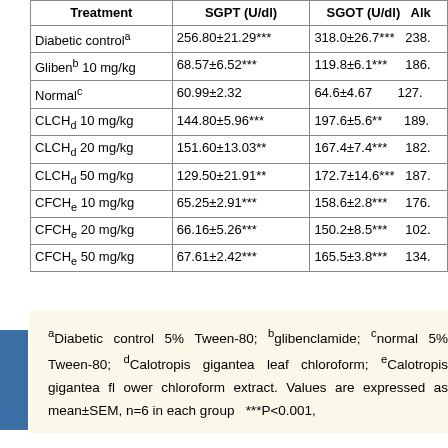| Treatment | SGPT (U/dl) | SGOT (U/dl) | Alk |
| --- | --- | --- | --- |
| Diabetic controla | 256.80±21.29*** | 318.0±26.7*** | 238. |
| Glibenb 10 mg/kg | 68.57±6.52*** | 119.8±6.1*** | 186. |
| Normalc | 60.99±2.32 | 64.6±4.67 | 127. |
| CLCHd 10 mg/kg | 144.80±5.96*** | 197.6±5.6** | 189. |
| CLCHd 20 mg/kg | 151.60±13.03** | 167.4±7.4*** | 182. |
| CLCHd 50 mg/kg | 129.50±21.91** | 172.7±14.6*** | 187. |
| CFCHe 10 mg/kg | 65.25±2.91*** | 158.6±2.8*** | 176. |
| CFCHe 20 mg/kg | 66.16±5.26*** | 150.2±8.5*** | 102. |
| CFCHe 50 mg/kg | 67.61±2.42*** | 165.5±3.8*** | 134. |
aDiabetic control 5% Tween-80; bglibenclamide; cnormal 5% Tween-80; dCalotropis gigantea leaf chloroform; eCalotropis gigantea flower chloroform extract. Values are expressed as mean±SEM, n=6 in each group ***P<0.001,